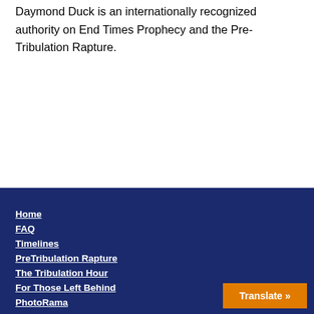Daymond Duck is an internationally recognized authority on End Times Prophecy and the Pre-Tribulation Rapture.
Home
FAQ
Timelines
PreTribulation Rapture
The Tribulation Hour
For Those Left Behind
PhotoRama
Translate »